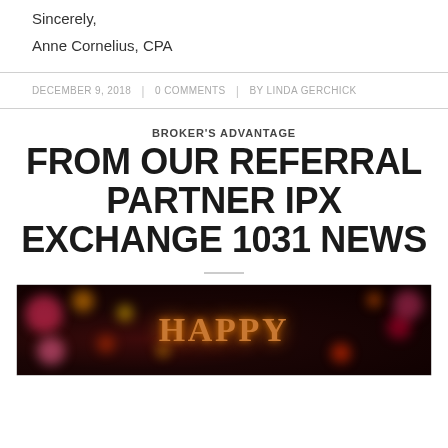Sincerely,
Anne Cornelius, CPA
DECEMBER 9, 2018 | 0 COMMENTS | BY LINDA GERCHICK
BROKER'S ADVANTAGE
FROM OUR REFERRAL PARTNER IPX EXCHANGE 1031 NEWS
[Figure (photo): Dark bokeh background with colorful light circles and the word HAPPY displayed in golden/orange serif text]